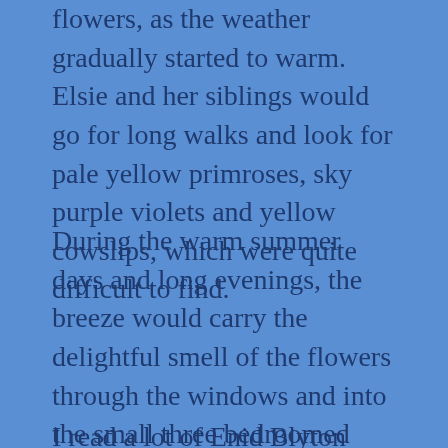flowers, as the weather gradually started to warm. Elsie and her siblings would go for long walks and look for pale yellow primroses, sky purple violets and yellow cowslips, which were quite difficult to find.
During the warm summer days and long evenings, the breeze would carry the delightful smell of the flowers through the windows and into the small three bedroomed cottage that housed my mother's family.
I read a lot of Enid Blyton books when I was